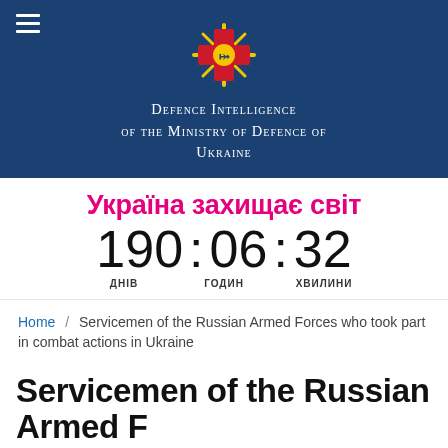Defence Intelligence of the Ministry of Defence of Ukraine
Україна захищає світ
190 : 06 : 32 ДНІВ ГОДИН ХВИЛИНИ
Home / Servicemen of the Russian Armed Forces who took part in combat actions in Ukraine
Servicemen of the Russian Armed Forces who took part in combat actions in Ukraine